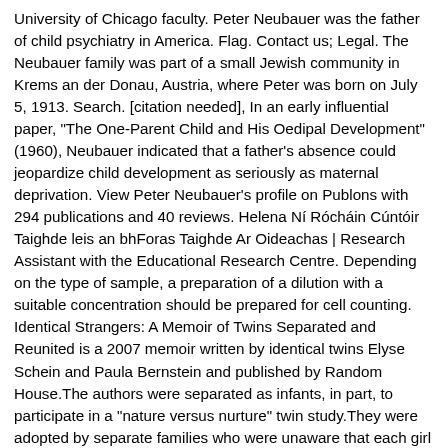University of Chicago faculty. Peter Neubauer was the father of child psychiatry in America. Flag. Contact us; Legal. The Neubauer family was part of a small Jewish community in Krems an der Donau, Austria, where Peter was born on July 5, 1913. Search. [citation needed], In an early influential paper, "The One-Parent Child and His Oedipal Development" (1960), Neubauer indicated that a father's absence could jeopardize child development as seriously as maternal deprivation. View Peter Neubauer's profile on Publons with 294 publications and 40 reviews. Helena Ní Rócháin Cúntóir Taighde leis an bhForas Taighde Ar Oideachas | Research Assistant with the Educational Research Centre. Depending on the type of sample, a preparation of a dilution with a suitable concentration should be prepared for cell counting. Identical Strangers: A Memoir of Twins Separated and Reunited is a 2007 memoir written by identical twins Elyse Schein and Paula Bernstein and published by Random House.The authors were separated as infants, in part, to participate in a "nature versus nurture" twin study.They were adopted by separate families who were unaware that each girl had a sister. University of California, Davis. Peter B. Neubauer (1914-2008) Some of Dr. Neubauer's notable work includes the paper, “The One-Parent Child and His Oedipal Development,” published in 1960, and Nature's Thumbprint: The New Genetics of Personality published in 1990. Faculty Research Units | Other Faculty Faculty Research Units Brain...